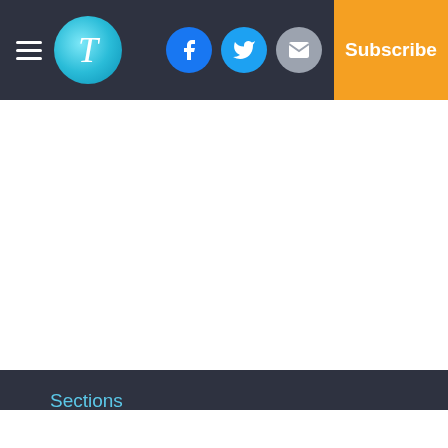Navigation header with logo, social icons (Facebook, Twitter, Email), and Subscribe button
Sections
Home
News
Sports
Opinion
Life
Faith
Obituaries
Records